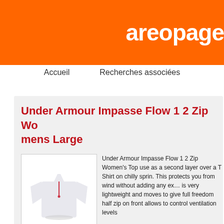areopage
Accueil    Recherches associées
Under Armour Impasse Flow 1 2 Zip Womens Large
[Figure (photo): White Under Armour half-zip long sleeve women's athletic top]
Under Armour Impasse Flow 1 2 Zip Women's Top use as a second layer over a T Shirt on chilly spring. This protects you from wind without adding any extra, is very lightweight and moves to give full freedom of movement, half zip on front allows to control ventilation levels
71.99EUR
Détails / Commande